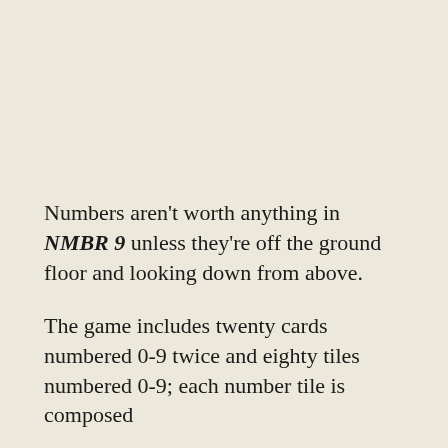Numbers aren't worth anything in NMBR 9 unless they're off the ground floor and looking down from above.
The game includes twenty cards numbered 0-9 twice and eighty tiles numbered 0-9; each number tile is composed